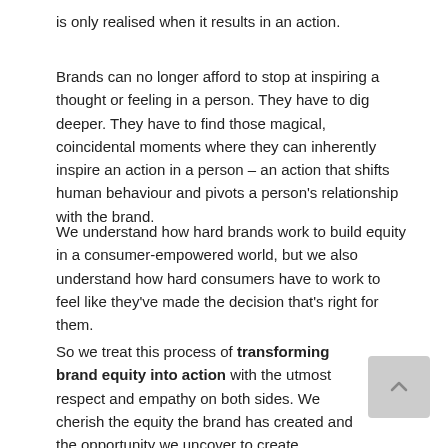is only realised when it results in an action.
Brands can no longer afford to stop at inspiring a thought or feeling in a person. They have to dig deeper. They have to find those magical, coincidental moments where they can inherently inspire an action in a person – an action that shifts human behaviour and pivots a person's relationship with the brand.
We understand how hard brands work to build equity in a consumer-empowered world, but we also understand how hard consumers have to work to feel like they've made the decision that's right for them.
So we treat this process of transforming brand equity into action with the utmost respect and empathy on both sides. We cherish the equity the brand has created and the opportunity we uncover to create meaningful action.